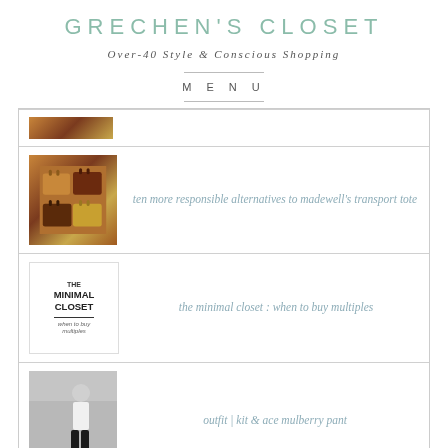GRECHEN'S CLOSET
Over-40 Style & Conscious Shopping
MENU
[Figure (photo): Partial thumbnail of leather bags at top of article list]
[Figure (photo): Collection of brown leather tote bags in various shades]
ten more responsible alternatives to madewell's transport tote
[Figure (photo): The Minimal Closet: when to buy multiples - text image]
the minimal closet : when to buy multiples
[Figure (photo): Outfit photo of person wearing white top and dark pants]
outfit | kit & ace mulberry pant